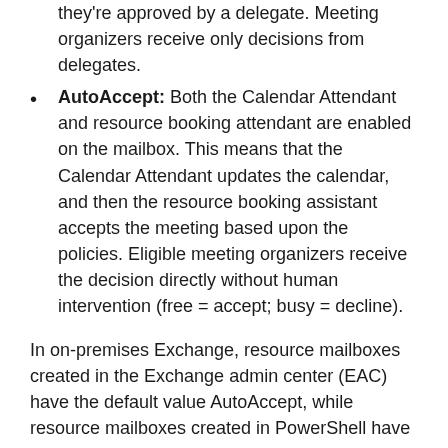they're approved by a delegate. Meeting organizers receive only decisions from delegates.
AutoAccept: Both the Calendar Attendant and resource booking attendant are enabled on the mailbox. This means that the Calendar Attendant updates the calendar, and then the resource booking assistant accepts the meeting based upon the policies. Eligible meeting organizers receive the decision directly without human intervention (free = accept; busy = decline).
In on-premises Exchange, resource mailboxes created in the Exchange admin center (EAC) have the default value AutoAccept, while resource mailboxes created in PowerShell have the default value AutoUpdate.
In Exchange Online, resource mailbox created in the EAC and resource mailboxes created in PowerShell after November 15, 2018 have the default value AutoAccept.